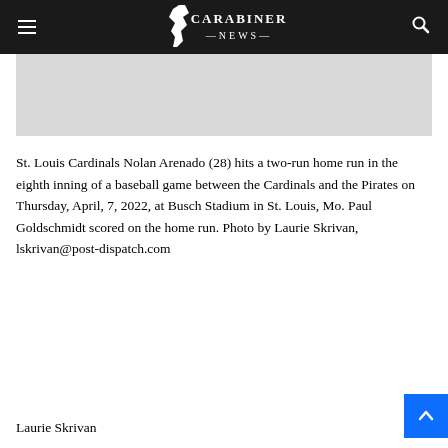CARABINER NEWS
[Figure (other): Gray placeholder image box]
St. Louis Cardinals Nolan Arenado (28) hits a two-run home run in the eighth inning of a baseball game between the Cardinals and the Pirates on Thursday, April, 7, 2022, at Busch Stadium in St. Louis, Mo. Paul Goldschmidt scored on the home run. Photo by Laurie Skrivan, lskrivan@post-dispatch.com
Laurie Skrivan